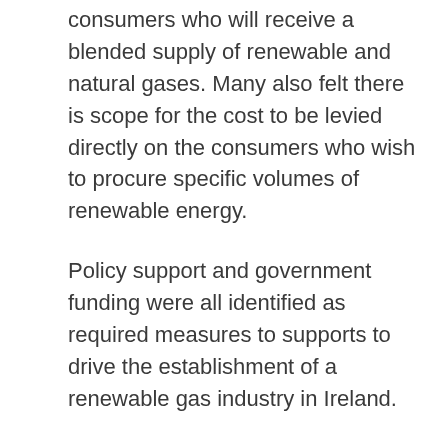consumers who will receive a blended supply of renewable and natural gases. Many also felt there is scope for the cost to be levied directly on the consumers who wish to procure specific volumes of renewable energy.
Policy support and government funding were all identified as required measures to supports to drive the establishment of a renewable gas industry in Ireland.
A quarter of those who responded said they were familiar with the provisions of the recast Renewable Energy Directive II which applies to the production and end use of biomethane /renewable gas. Most